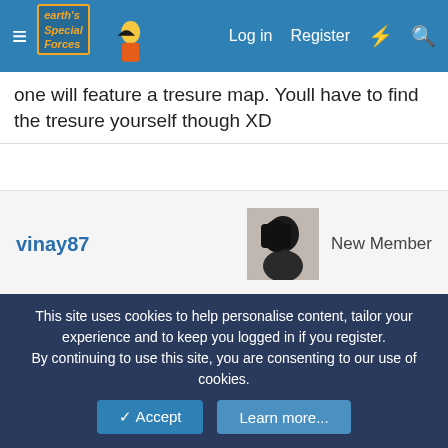Earth's Special Forces forum navigation bar with Log in, Register links
one will feature a tresure map. Youll have to find the tresure yourself though XD
vinay87 — New Member
Apr 4, 2007 #10
Ravendust said: ↑
Seeing as this is ESF-related...
...moved to ESF Chat.
kinda thought so, but thought that its more spammable and
This site uses cookies to help personalise content, tailor your experience and to keep you logged in if you register.
By continuing to use this site, you are consenting to our use of cookies.
✓ Accept   Learn more...